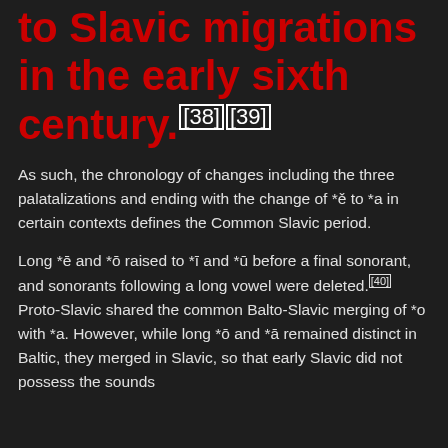…that came thedue to Slavic migrations in the early sixth century.[38][39]
As such, the chronology of changes including the three palatalizations and ending with the change of *ě to *a in certain contexts defines the Common Slavic period.
Long *ē and *ō raised to *ī and *ū before a final sonorant, and sonorants following a long vowel were deleted.[40] Proto-Slavic shared the common Balto-Slavic merging of *o with *a. However, while long *ō and *ā remained distinct in Baltic, they merged in Slavic, so that early Slavic did not possess the sounds